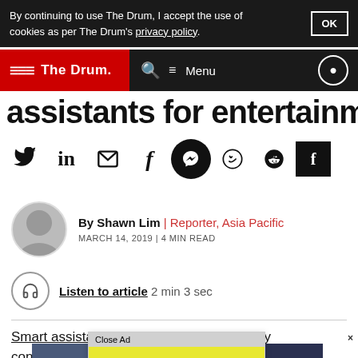By continuing to use The Drum, I accept the use of cookies as per The Drum's privacy policy. OK
The Drum | Search | Menu
assistants for entertainment
[Figure (infographic): Social sharing icons row: Twitter, LinkedIn, Email, Facebook, Messenger, WhatsApp, Reddit, Flipboard]
By Shawn Lim | Reporter, Asia Pacific
MARCH 14, 2019 | 4 MIN READ
Listen to article 2 min 3 sec
Smart assistants are being underutilized by consu... these ...